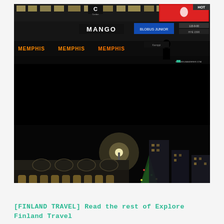[Figure (photo): Two stacked night photography shots of Helsinki, Finland. Top image shows a busy commercial street at night with illuminated signs including MANGO and MEMPHIS, with a silhouetted person in the foreground. Bottom image shows a historic ornate building on a snowy street at night with a Christmas tree, traffic lights, and light trails from vehicles.]
[FINLAND TRAVEL] Read the rest of Explore Finland Travel